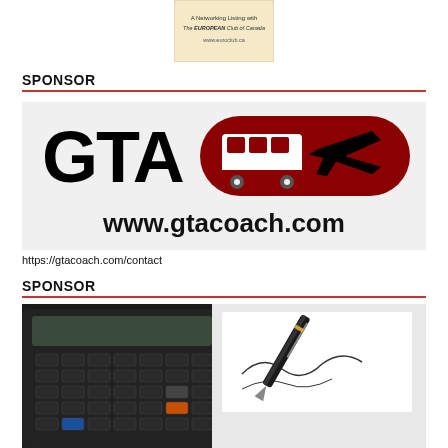[Figure (logo): Small beige/cream card with text: A Networking Listing with The EUROPEAN Club of Canada www.euroclub.ca]
SPONSOR
[Figure (logo): GTA Coach logo banner showing large black GTA letters with a red rounded rectangle containing a bus and airplane silhouette, and text www.gtacoach.com on white background]
https://gtacoach.com/contact
SPONSOR
[Figure (photo): Close-up photo of a dark scientific calculator with orange and blue accent keys, a fountain pen, and a signed document/paper in the background]